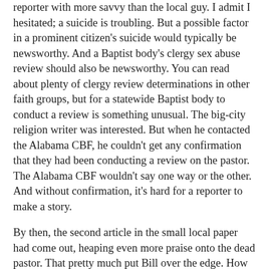reporter with more savvy than the local guy. I admit I hesitated; a suicide is troubling. But a possible factor in a prominent citizen's suicide would typically be newsworthy. And a Baptist body's clergy sex abuse review should also be newsworthy. You can read about plenty of clergy review determinations in other faith groups, but for a statewide Baptist body to conduct a review is something unusual. The big-city religion writer was interested. But when he contacted the Alabama CBF, he couldn't get any confirmation that they had been conducting a review on the pastor. The Alabama CBF wouldn't say one way or the other. And without confirmation, it's hard for a reporter to make a story.
By then, the second article in the small local paper had come out, heaping even more praise onto the dead pastor. That pretty much put Bill over the edge. How should he feel when he sees the pastor whom he reported for rape repeatedly lionized as a local hero?
Bill shut down. At first, he was ready to provide all his documentation to help get the “real story” out. He had a police report, letters from the Alabama CBF to him and the accused pastor, and his own lengthy statement to the